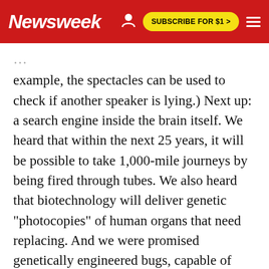Newsweek | SUBSCRIBE FOR $1 >
example, the spectacles can be used to check if another speaker is lying.) Next up: a search engine inside the brain itself. We heard that within the next 25 years, it will be possible to take 1,000-mile journeys by being fired through tubes. We also heard that biotechnology will deliver genetic "photocopies" of human organs that need replacing. And we were promised genetically engineered bugs, capable of excreting clean fuel. The only note of pessimism came from an eminent